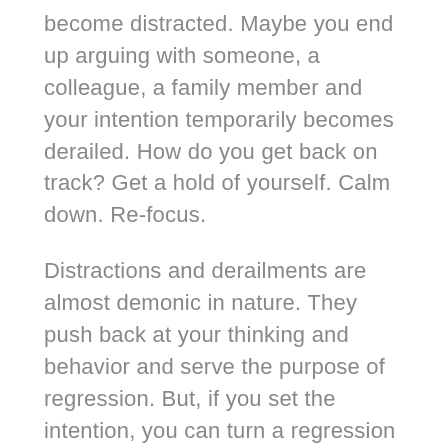become distracted. Maybe you end up arguing with someone, a colleague, a family member and your intention temporarily becomes derailed. How do you get back on track? Get a hold of yourself. Calm down. Re-focus.
Distractions and derailments are almost demonic in nature. They push back at your thinking and behavior and serve the purpose of regression. But, if you set the intention, you can turn a regression into a transcendence to something new, beautiful and powerful. Sounds like positive psychology, doesn't it?
If you set the intention, is it possible that your thoughts can lead to more